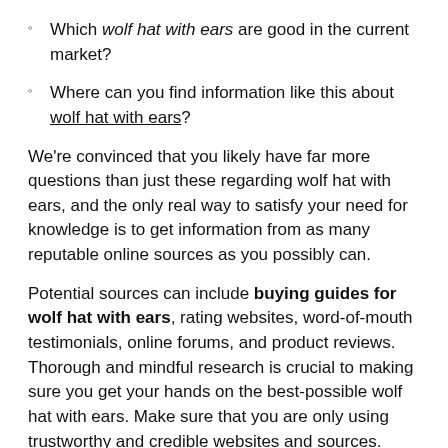Which wolf hat with ears are good in the current market?
Where can you find information like this about wolf hat with ears?
We're convinced that you likely have far more questions than just these regarding wolf hat with ears, and the only real way to satisfy your need for knowledge is to get information from as many reputable online sources as you possibly can.
Potential sources can include buying guides for wolf hat with ears, rating websites, word-of-mouth testimonials, online forums, and product reviews. Thorough and mindful research is crucial to making sure you get your hands on the best-possible wolf hat with ears. Make sure that you are only using trustworthy and credible websites and sources.